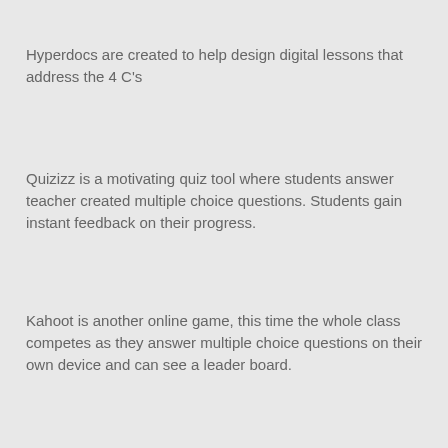Hyperdocs are created to help design digital lessons that address the 4 C's
Quizizz is a motivating quiz tool where students answer teacher created multiple choice questions. Students gain instant feedback on their progress.
Kahoot is another online game, this time the whole class competes as they answer multiple choice questions on their own device and can see a leader board.